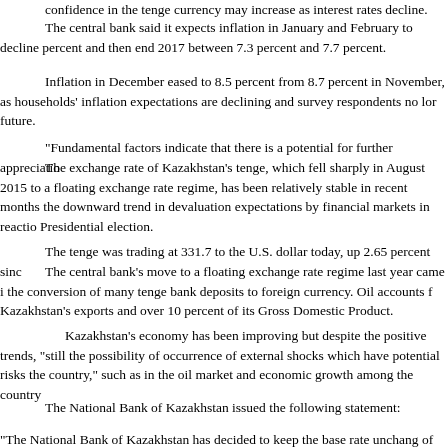confidence in the tenge currency may increase as interest rates decline.
The central bank said it expects inflation in January and February to decline percent and then end 2017 between 7.3 percent and 7.7 percent.
Inflation in December eased to 8.5 percent from 8.7 percent in November, as households' inflation expectations are declining and survey respondents no longer future.
"Fundamental factors indicate that there is a potential for further appreciation.
The exchange rate of Kazakhstan's tenge, which fell sharply in August 2015 to a floating exchange rate regime, has been relatively stable in recent months the downward trend in devaluation expectations by financial markets in reaction Presidential election.
The tenge was trading at 331.7 to the U.S. dollar today, up 2.65 percent since
The central bank's move to a floating exchange rate regime last year came i the conversion of many tenge bank deposits to foreign currency. Oil accounts f Kazakhstan's exports and over 10 percent of its Gross Domestic Product.
Kazakhstan's economy has been improving but despite the positive trends, "still the possibility of occurrence of external shocks which have potential risks the country," such as in the oil market and economic growth among the country
The National Bank of Kazakhstan issued the following statement:
"The National Bank of Kazakhstan has decided to keep the base rate unchanged of +/-1 percentage points. Despite the fact that annual inflation in 2016 exceed that the target range will be achieved within 1-2 months. Due to weakness of th acceleration or volatility, some increase in business activity, uncertainty reduction